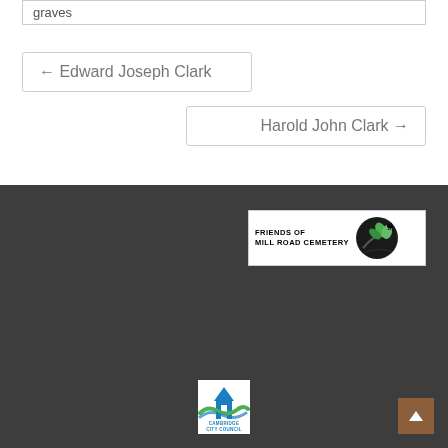graves
← Edward Joseph Clark
Harold John Clark →
[Figure (logo): Friends of Mill Road Cemetery logo — black bird on branch with green leaves against dark circular background, text reads FRIENDS OF MILL ROAD CEMETERY]
[Figure (logo): Cambridge City Council logo — stylized building spire and circular swoosh in blue and green, text reads CAMBRIDGE CITY COUNCIL]